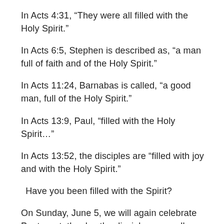In Acts 4:31, “They were all filled with the Holy Spirit.”
In Acts 6:5, Stephen is described as, “a man full of faith and of the Holy Spirit.”
In Acts 11:24, Barnabas is called, “a good man, full of the Holy Spirit.”
In Acts 13:9, Paul, “filled with the Holy Spirit…”
In Acts 13:52, the disciples are “filled with joy and with the Holy Spirit.”
Have you been filled with the Spirit?
On Sunday, June 5, we will again celebrate Pentecost, the day the disciples were all “filled with the Holy Spirit” (Acts 2:4). May it happen